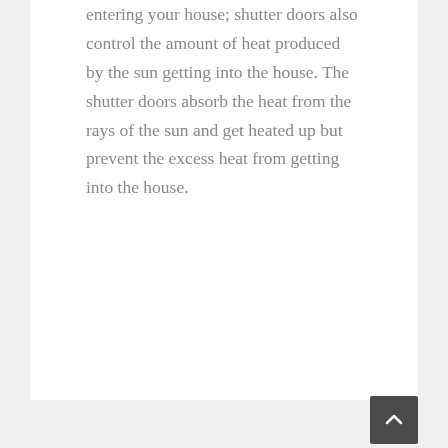entering your house; shutter doors also control the amount of heat produced by the sun getting into the house. The shutter doors absorb the heat from the rays of the sun and get heated up but prevent the excess heat from getting into the house.